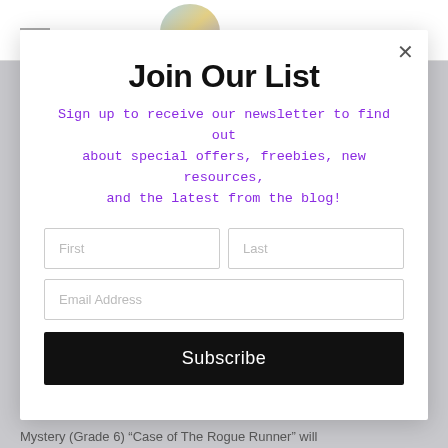[Figure (screenshot): Newsletter signup modal popup overlay on a webpage background]
Join Our List
Sign up to receive our newsletter to find out about special offers, freebies, new resources, and the latest from the blog!
First | Last (form fields)
Email Address (form field)
Subscribe (button)
Mystery (Grade 6) “Case of The Rogue Runner” will